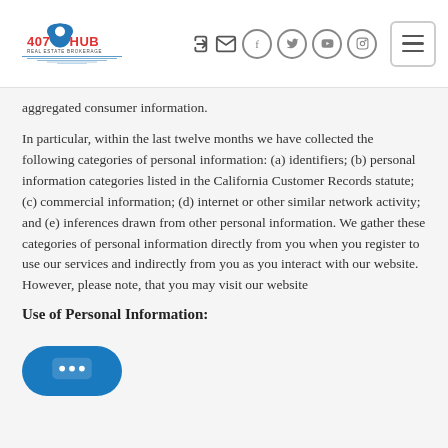407 HUB Real Estate Brokerage — navigation header with logo and icons
aggregated consumer information.
In particular, within the last twelve months we have collected the following categories of personal information: (a) identifiers; (b) personal information categories listed in the California Customer Records statute; (c) commercial information; (d) internet or other similar network activity; and (e) inferences drawn from other personal information. We gather these categories of personal information directly from you when you register to use our services and indirectly from you as you interact with our website. However, please note, that you may visit our website
Use of Personal Information: